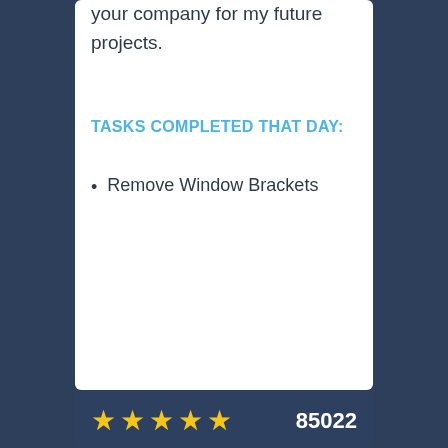your company for my future projects.
TASKS COMPLETED THAT DAY:
Remove Window Brackets
85022